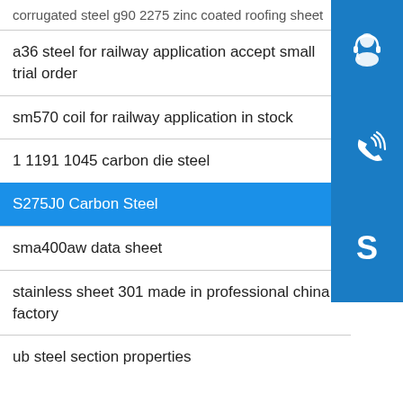corrugated steel g90 2275 zinc coated roofing sheet
a36 steel for railway application accept small trial order
sm570 coil for railway application in stock
1 1191 1045 carbon die steel
S275J0 Carbon Steel
sma400aw data sheet
stainless sheet 301 made in professional china factory
ub steel section properties
[Figure (illustration): Blue sidebar with three icons: a customer support headset icon, a phone/call icon, and a Skype icon]